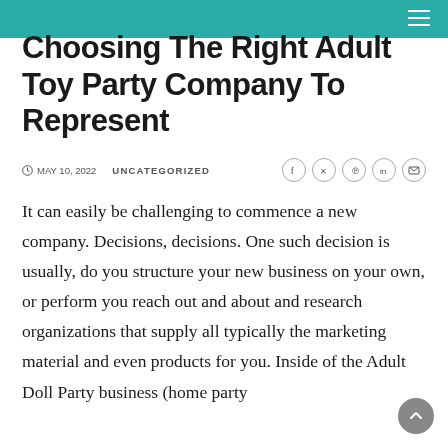Choosing The Right Adult Toy Party Company To Represent
MAY 10, 2022   UNCATEGORIZED
It can easily be challenging to commence a new company. Decisions, decisions. One such decision is usually, do you structure your new business on your own, or perform you reach out and about and research organizations that supply all typically the marketing material and even products for you. Inside of the Adult Doll Party business (home party